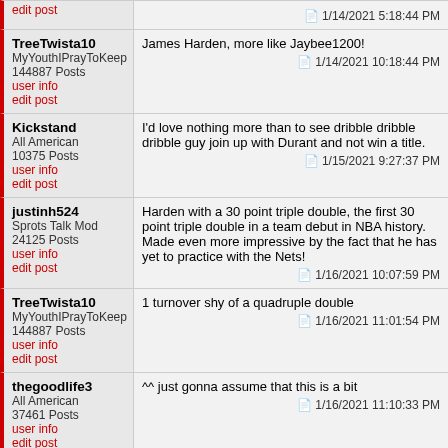edit post | 1/14/2021 5:18:44 PM
TreeTwista10
MyYouthIPrayToKeep
144887 Posts
user info
edit post
James Harden, more like Jaybee1200!
1/14/2021 10:18:44 PM
Kickstand
All American
10375 Posts
user info
edit post
I'd love nothing more than to see dribble dribble dribble guy join up with Durant and not win a title.
1/15/2021 9:27:37 PM
justinh524
Sprots Talk Mod
24125 Posts
user info
edit post
Harden with a 30 point triple double, the first 30 point triple double in a team debut in NBA history. Made even more impressive by the fact that he has yet to practice with the Nets!
1/16/2021 10:07:59 PM
TreeTwista10
MyYouthIPrayToKeep
144887 Posts
user info
edit post
1 turnover shy of a quadruple double
1/16/2021 11:01:54 PM
thegoodlife3
All American
37461 Posts
user info
edit post
^^ just gonna assume that this is a bit
1/16/2021 11:10:33 PM
justinh524
Sprots Talk Mod
24125 Posts
user info
No i legitimately enjoy watching James Harden ball out